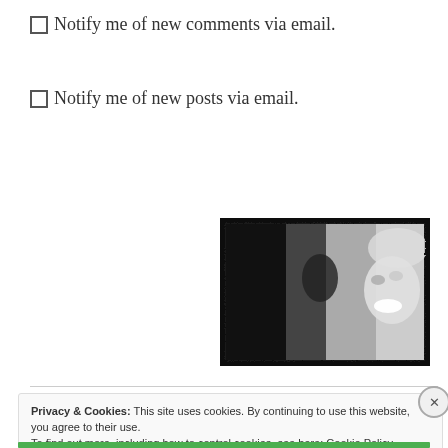Notify me of new comments via email.
Notify me of new posts via email.
[Figure (photo): Black and white photo of a smiling blonde woman, with a rough/distressed border effect.]
Privacy & Cookies: This site uses cookies. By continuing to use this website, you agree to their use. To find out more, including how to control cookies, see here: Cookie Policy
Close and accept